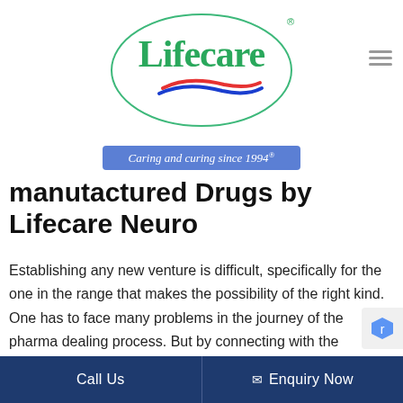[Figure (logo): Lifecare logo — green oval border with 'Lifecare' in green serif font and red/blue swoosh underneath]
[Figure (infographic): Blue rounded rectangle banner reading 'Caring and curing since 1994' in white italic script]
manufactured Drugs by Lifecare Neuro
Establishing any new venture is difficult, specifically for the one in the range that makes the possibility of the right kind. One has to face many problems in the journey of the pharma dealing process. But by connecting with the company likewise, Lifecare Neuro where your outsourcing of
Call Us    Enquiry Now